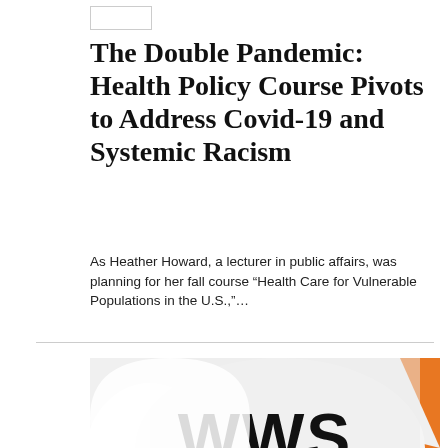The Double Pandemic: Health Policy Course Pivots to Address Covid-19 and Systemic Racism
As Heather Howard, a lecturer in public affairs, was planning for her fall course “Health Care for Vulnerable Populations in the U.S.,”…
[Figure (logo): WWS REACTS graphic with large bold black text on white speech bubble shapes with orange background elements]